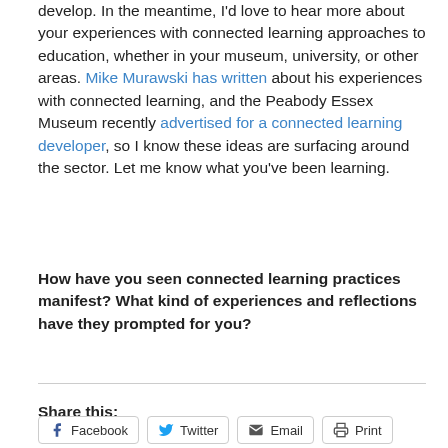develop. In the meantime, I'd love to hear more about your experiences with connected learning approaches to education, whether in your museum, university, or other areas. Mike Murawski has written about his experiences with connected learning, and the Peabody Essex Museum recently advertised for a connected learning developer, so I know these ideas are surfacing around the sector. Let me know what you've been learning.
How have you seen connected learning practices manifest? What kind of experiences and reflections have they prompted for you?
Share this: